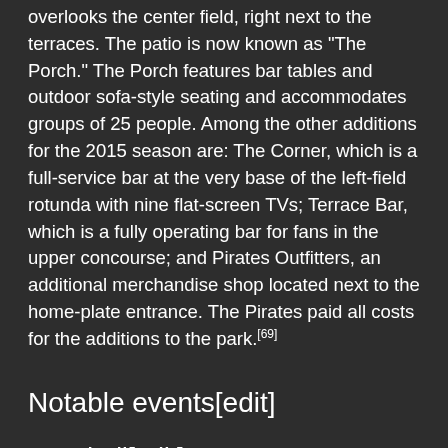overlooks the center field, right next to the terraces. The patio is now known as "The Porch." The Porch features bar tables and outdoor sofa-style seating and accommodates groups of 25 people. Among the other additions for the 2015 season are: The Corner, which is a full-service bar at the very base of the left-field rotunda with nine flat-screen TVs; Terrace Bar, which is a fully operating bar for fans in the upper concourse; and Pirates Outfitters, an additional merchandise shop located next to the home-plate entrance. The Pirates paid all costs for the additions to the park.[69]
Notable events[edit]
Baseball[edit]
See also: 2006 Major League Baseball All-Star Game